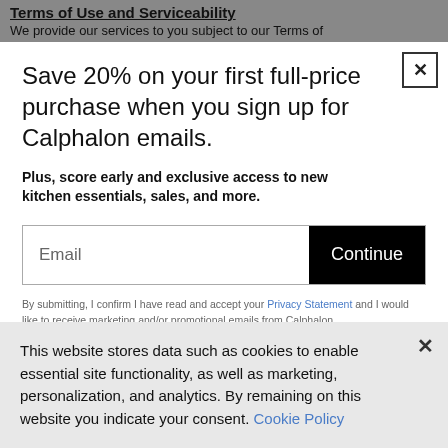Terms of Use and Serviceability
We provide our services to you subject to our Terms of
Save 20% on your first full-price purchase when you sign up for Calphalon emails.
Plus, score early and exclusive access to new kitchen essentials, sales, and more.
Email  Continue
By submitting, I confirm I have read and accept your Privacy Statement and I would like to receive marketing and/or promotional emails from Calphalon.
This website stores data such as cookies to enable essential site functionality, as well as marketing, personalization, and analytics. By remaining on this website you indicate your consent. Cookie Policy